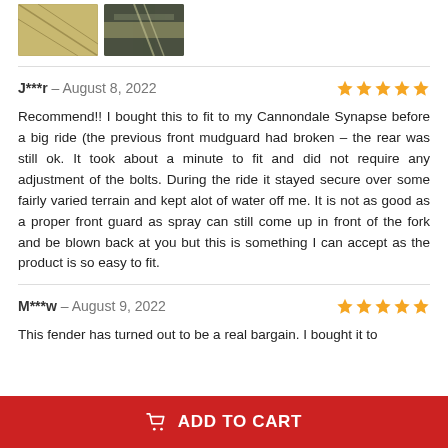[Figure (photo): Two thumbnail product images side by side — first shows a woven/textured material in tan/gold, second shows a darker surface with light reflections]
J***r – August 8, 2022 ★★★★★
Recommend!! I bought this to fit to my Cannondale Synapse before a big ride (the previous front mudguard had broken – the rear was still ok. It took about a minute to fit and did not require any adjustment of the bolts. During the ride it stayed secure over some fairly varied terrain and kept alot of water off me. It is not as good as a proper front guard as spray can still come up in front of the fork and be blown back at you but this is something I can accept as the product is so easy to fit.
M***w – August 9, 2022 ★★★★★
This fender has turned out to be a real bargain. I bought it to
ADD TO CART